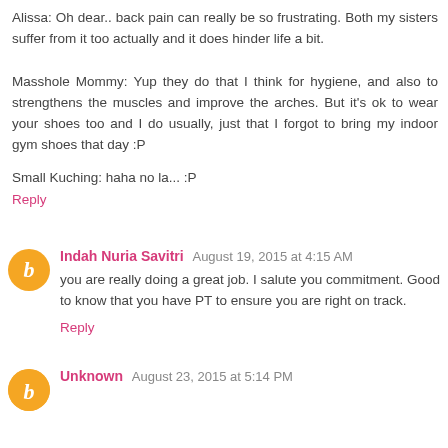Alissa: Oh dear.. back pain can really be so frustrating. Both my sisters suffer from it too actually and it does hinder life a bit.
Masshole Mommy: Yup they do that I think for hygiene, and also to strengthens the muscles and improve the arches. But it's ok to wear your shoes too and I do usually, just that I forgot to bring my indoor gym shoes that day :P
Small Kuching: haha no la... :P
Reply
Indah Nuria Savitri August 19, 2015 at 4:15 AM
you are really doing a great job. I salute you commitment. Good to know that you have PT to ensure you are right on track.
Reply
Unknown August 23, 2015 at 5:14 PM